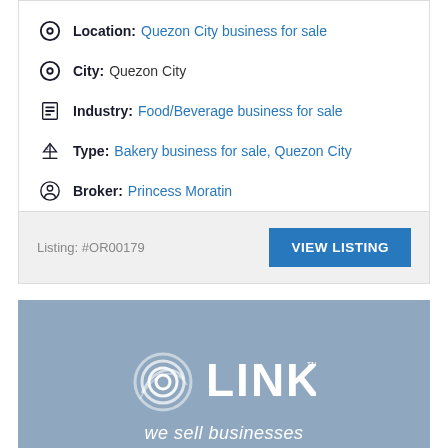Location: Quezon City business for sale
City: Quezon City
Industry: Food/Beverage business for sale
Type: Bakery business for sale, Quezon City
Broker: Princess Moratin
Listing: #OR00179
[Figure (logo): LINK business brokers logo with tagline 'we sell businesses' on a blue-grey background]